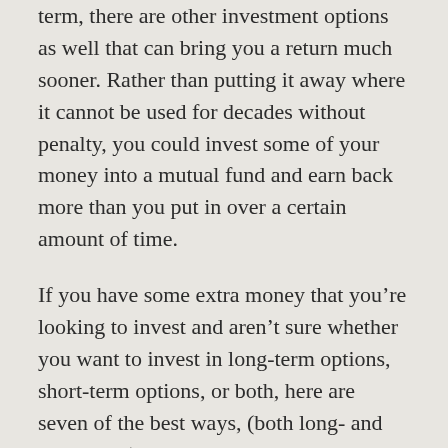term, there are other investment options as well that can bring you a return much sooner. Rather than putting it away where it cannot be used for decades without penalty, you could invest some of your money into a mutual fund and earn back more than you put in over a certain amount of time.
If you have some extra money that you're looking to invest and aren't sure whether you want to invest in long-term options, short-term options, or both, here are seven of the best ways, (both long- and short-term), that you can put money away and earn a return:
High-Return Savings Account
Savings accounts aren't usually thought of as a way to invest. The interest rate you get in return is quite low, and you'll probably only get pennies for your